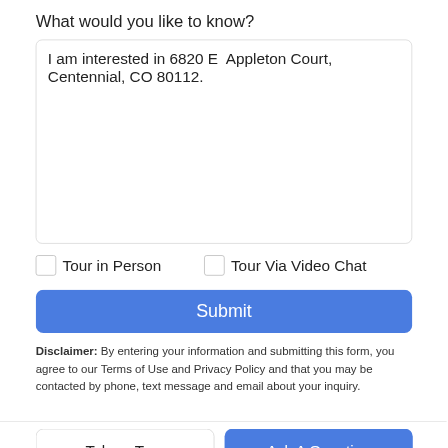What would you like to know?
I am interested in 6820 E  Appleton Court, Centennial, CO 80112.
Tour in Person
Tour Via Video Chat
Submit
Disclaimer: By entering your information and submitting this form, you agree to our Terms of Use and Privacy Policy and that you may be contacted by phone, text message and email about your inquiry.
Take a Tour
Ask A Question